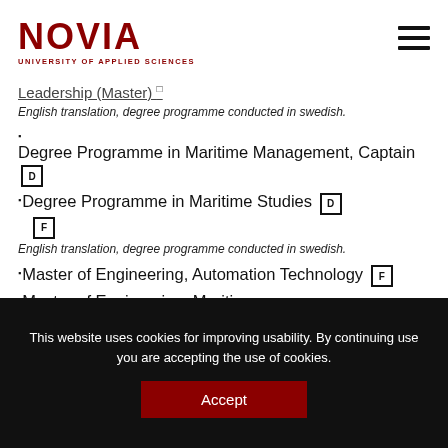NOVIA UNIVERSITY OF APPLIED SCIENCES
Leadership (Master) [truncated/partially visible]
English translation, degree programme conducted in swedish.
Degree Programme in Maritime Management, Captain [D]
Degree Programme in Maritime Studies [D] [F]
English translation, degree programme conducted in swedish.
Master of Engineering, Automation Technology [F]
Master of Engineering, Maritime
This website uses cookies for improving usability. By continuing use you are accepting the use of cookies.